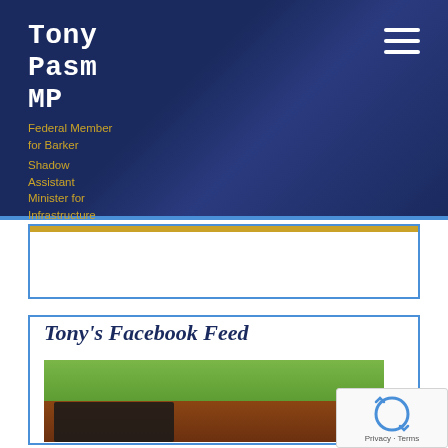Tony Pasm MP
Federal Member for Barker
Shadow Assistant Minister for Infrastructure and Transport
Tony's Facebook Feed
[Figure (photo): Outdoor photo showing green grass field with livestock visible and brick/wooden fencing or cart in the foreground with dark equipment or bags]